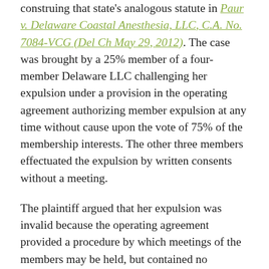construing that state's analogous statute in Paur v. Delaware Coastal Anesthesia, LLC, C.A. No. 7084-VCG (Del Ch May 29, 2012). The case was brought by a 25% member of a four-member Delaware LLC challenging her expulsion under a provision in the operating agreement authorizing member expulsion at any time without cause upon the vote of 75% of the membership interests. The other three members effectuated the expulsion by written consents without a meeting.

The plaintiff argued that her expulsion was invalid because the operating agreement provided a procedure by which meetings of the members may be held, but contained no provision for action by written consent without a meeting. The opposing members relied on §18-302(d) of the Delaware LLC Act which, like the New York statute,